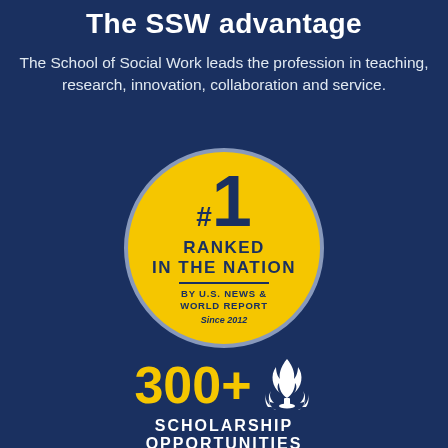The SSW advantage
The School of Social Work leads the profession in teaching, research, innovation, collaboration and service.
[Figure (infographic): #1 Ranked in the Nation by U.S. News & World Report Since 2012 — displayed as a gold circle badge]
300+
SCHOLARSHIP OPPORTUNITIES